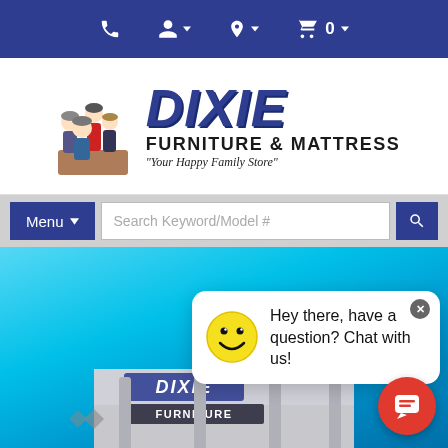Navigation bar with phone, account, location, and cart icons
[Figure (logo): Dixie Furniture & Mattress logo with cartoon family figures and text 'DIXIE FURNITURE & MATTRESS Your Happy Family Store']
Menu ▼   Search Keyword/Model #   🔍
[Figure (photo): Exterior photo of Dixie Furniture store under bright blue sky with chat popup saying 'Hey there, have a question? Chat with us!' and red chat button]
Hey there, have a question? Chat with us!